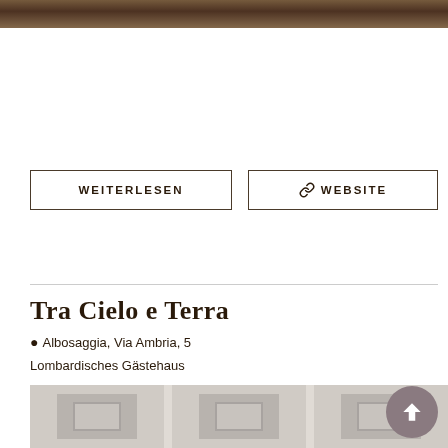[Figure (photo): Top strip showing partial view of a building with solar panels/roof structure]
WEITERLESEN
🔗 WEBSITE
Tra Cielo e Terra
📍 Albosaggia, Via Ambria, 5
Lombardisches Gästehaus
[Figure (photo): Gallery strip with placeholder image thumbnails for the listing]